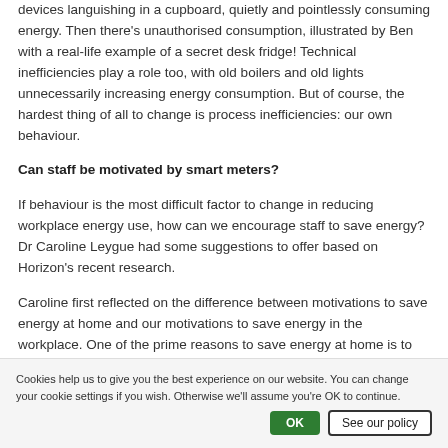devices languishing in a cupboard, quietly and pointlessly consuming energy. Then there's unauthorised consumption, illustrated by Ben with a real-life example of a secret desk fridge! Technical inefficiencies play a role too, with old boilers and old lights unnecessarily increasing energy consumption. But of course, the hardest thing of all to change is process inefficiencies: our own behaviour.
Can staff be motivated by smart meters?
If behaviour is the most difficult factor to change in reducing workplace energy use, how can we encourage staff to save energy? Dr Caroline Leygue had some suggestions to offer based on Horizon's recent research.
Caroline first reflected on the difference between motivations to save energy at home and our motivations to save energy in the workplace. One of the prime reasons to save energy at home is to reduce our energy bills. However, the cost motivation doesn't necessarily translate to the workplace where there is no direct cost to the employee.
Altruistic behaviours
Cookies help us to give you the best experience on our website. You can change your cookie settings if you wish. Otherwise we'll assume you're OK to continue.